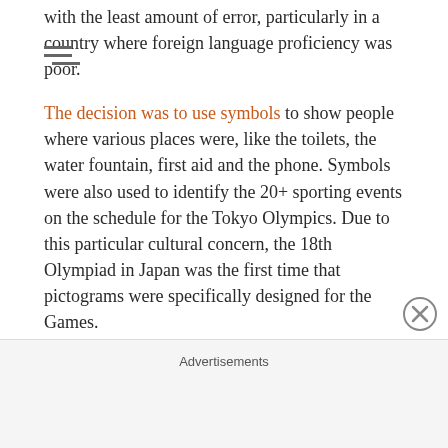with the least amount of error, particularly in a country where foreign language proficiency was poor.
The decision was to use symbols to show people where various places were, like the toilets, the water fountain, first aid and the phone. Symbols were also used to identify the 20+ sporting events on the schedule for the Tokyo Olympics. Due to this particular cultural concern, the 18th Olympiad in Japan was the first time that pictograms were specifically designed for the Games.
Over 50 years later, the symbols have become de rigeur for presentation in Olympic collaterols and signage.
Advertisements